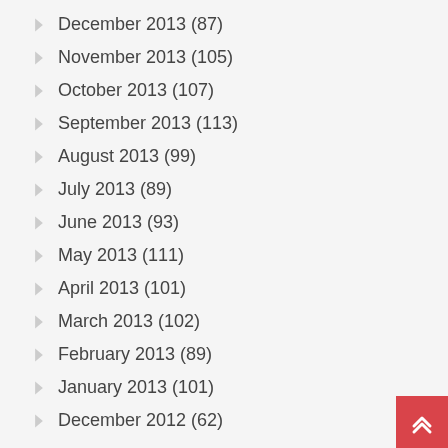December 2013 (87)
November 2013 (105)
October 2013 (107)
September 2013 (113)
August 2013 (99)
July 2013 (89)
June 2013 (93)
May 2013 (111)
April 2013 (101)
March 2013 (102)
February 2013 (89)
January 2013 (101)
December 2012 (62)